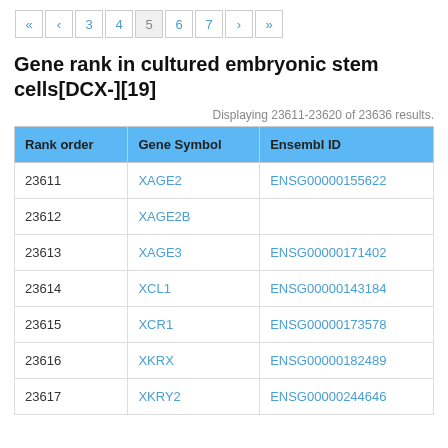« ‹ 3 4 5 6 7 › »
Gene rank in cultured embryonic stem cells[DCX-][19]
Displaying 23611-23620 of 23636 results.
| Rank order | Gene Symbol | Ensembl ID |
| --- | --- | --- |
| 23611 | XAGE2 | ENSG00000155622 |
| 23612 | XAGE2B |  |
| 23613 | XAGE3 | ENSG00000171402 |
| 23614 | XCL1 | ENSG00000143184 |
| 23615 | XCR1 | ENSG00000173578 |
| 23616 | XKRX | ENSG00000182489 |
| 23617 | XKRY2 | ENSG00000244646 |